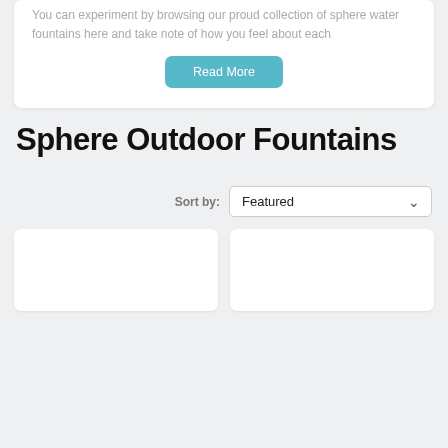You can experiment by browsing our proud collection of sphere water fountains here and take note of how you feel about each
Read More
Sphere Outdoor Fountains
Sort by: Featured
[Figure (other): Two white product card placeholders side by side at the bottom of the page]